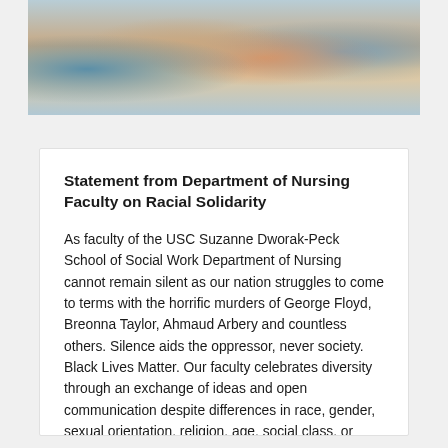[Figure (photo): Photograph showing people shaking hands or interacting, partially cropped at top of page]
Statement from Department of Nursing Faculty on Racial Solidarity
As faculty of the USC Suzanne Dworak-Peck School of Social Work Department of Nursing cannot remain silent as our nation struggles to come to terms with the horrific murders of George Floyd, Breonna Taylor, Ahmaud Arbery and countless others. Silence aids the oppressor, never society. Black Lives Matter. Our faculty celebrates diversity through an exchange of ideas and open communication despite differences in race, gender, sexual orientation, religion, age, social class, or